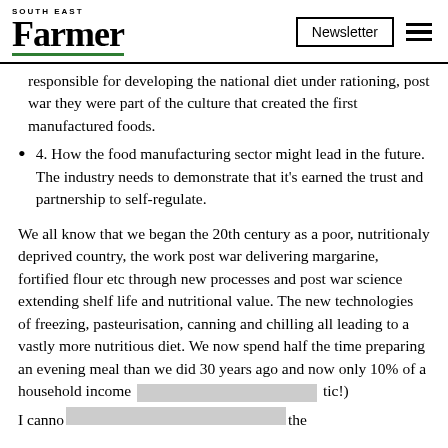South East Farmer | Newsletter
responsible for developing the national diet under rationing, post war they were part of the culture that created the first manufactured foods.
4. How the food manufacturing sector might lead in the future. The industry needs to demonstrate that it’s earned the trust and partnership to self-regulate.
We all know that we began the 20th century as a poor, nutritionaly deprived country, the work post war delivering margarine, fortified flour etc through new processes and post war science extending shelf life and nutritional value. The new technologies of freezing, pasteurisation, canning and chilling all leading to a vastly more nutritious diet. We now spend half the time preparing an evening meal than we did 30 years ago and now only 10% of a household income [redacted] tic!)
I canno [redacted] the